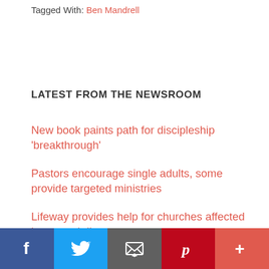Tagged With: Ben Mandrell
LATEST FROM THE NEWSROOM
New book paints path for discipleship ‘breakthrough’
Pastors encourage single adults, some provide targeted ministries
Lifeway provides help for churches affected by natural disasters
Pastors identify modern-day idols, comfort tops list
‘Following Jesus in a Digital Age’ helps Christians connect biblical wisdom with digital living